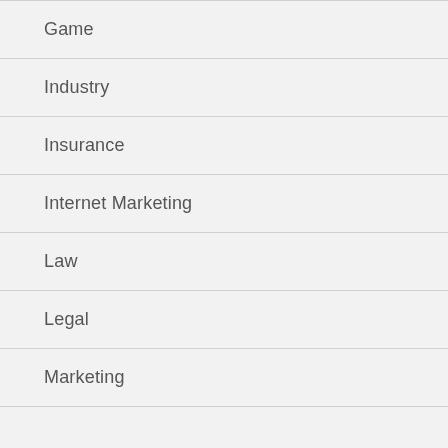Game
Industry
Insurance
Internet Marketing
Law
Legal
Marketing